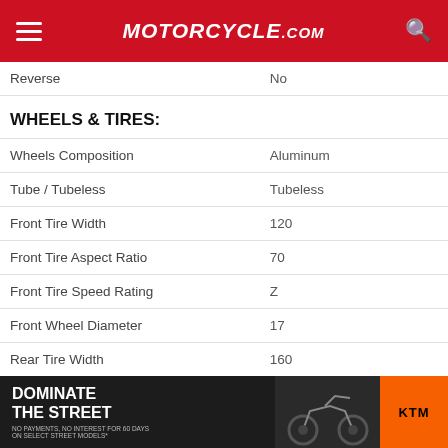Motorcycle.com
| Spec | Value |
| --- | --- |
| Reverse | No |
| Wheels Composition | Aluminum |
| Tube / Tubeless | Tubeless |
| Front Tire Width | 120 |
| Front Tire Aspect Ratio | 70 |
| Front Tire Speed Rating | Z |
| Front Wheel Diameter | 17 |
| Rear Tire Width | 160 |
| Rear Tire Aspect Ratio | 60 |
| Rear Tire Speed Rating | Z |
| Rear Wheel Diameter | 17 |
[Figure (photo): KTM advertisement banner: 'Dominate the Street' with motorcycle image and KTM logo]